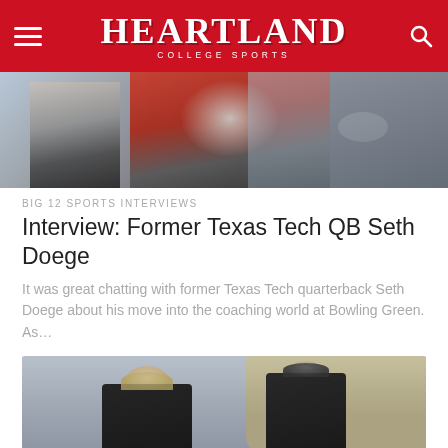HEARTLAND COLLEGE SPORTS
[Figure (photo): Action photo from a college football game with players in red uniforms]
BIG 12 SPORTS INTERVIEWS
Interview: Former Texas Tech QB Seth Doege
It was great chatting with former Texas Tech quarterback Seth Doege about his move into the coaching world at Bowling Green. As…
[Figure (photo): Two coaches in black jackets talking on the field, one with light hair on the left and one taller on the right]
BAYLOR BEARS